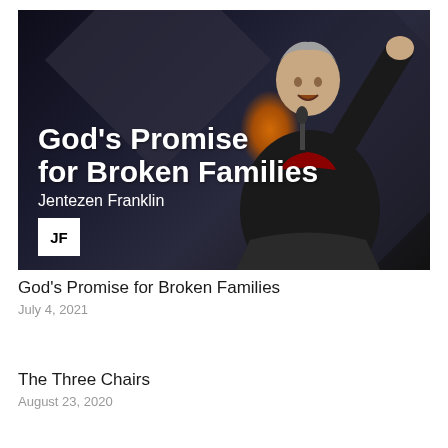[Figure (photo): A preacher (Jentezen Franklin) on a dark stage with geometric diamond shapes in the background and an orange light glow. Text overlay reads 'God's Promise for Broken Families' and 'Jentezen Franklin'. A white JF logo badge is in the lower-left corner.]
God's Promise for Broken Families
July 4, 2021
The Three Chairs
August 23, 2020